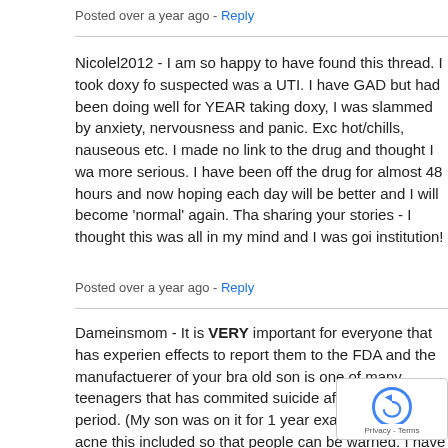Posted over a year ago - Reply
Nicolel2012 - I am so happy to have found this thread. I took doxy fo suspected was a UTI. I have GAD but had been doing well for YEAR taking doxy, I was slammed by anxiety, nervousness and panic. Exc hot/chills, nauseous etc. I made no link to the drug and thought I wa more serious. I have been off the drug for almost 48 hours and now hoping each day will be better and I will become 'normal' again. Tha sharing your stories - I thought this was all in my mind and I was goi institution!
Posted over a year ago - Reply
Dameinsmom - It is VERY important for everyone that has experien effects to report them to the FDA and the manufactuerer of your bra old son is one of many teenagers that has commited suicide after be prolonged period. (My son was on it for 1 year exactly for mild acne this included so that people can be warned. I have a peti doxycycline and help us require the FDA to investigate a To do this not only do we need your signatures but we al of the experiences you have talked about on there. Please! Don't le